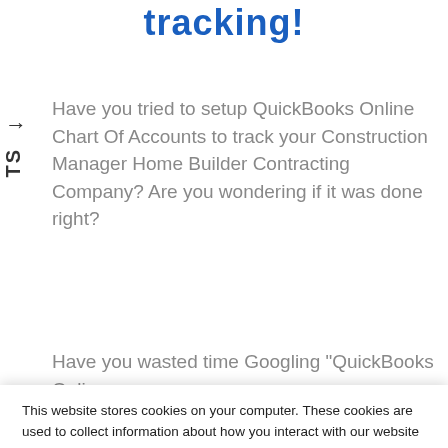tracking!
Have you tried to setup QuickBooks Online Chart Of Accounts to track your Construction Manager Home Builder Contracting Company? Are you wondering if it was done right?
Have you wasted time Googling "QuickBooks Online
This website stores cookies on your computer. These cookies are used to collect information about how you interact with our website and allow us to remember you. We use this information in order to improve and customize your browsing experience and for analytics and metrics about our visitors both on this website and other media. To find out more about the cookies we use, see our Privacy Policy.
If you decline, your information won't be tracked when you visit this website. A single cookie will be used in your browser to remember your preference not to be tracked.